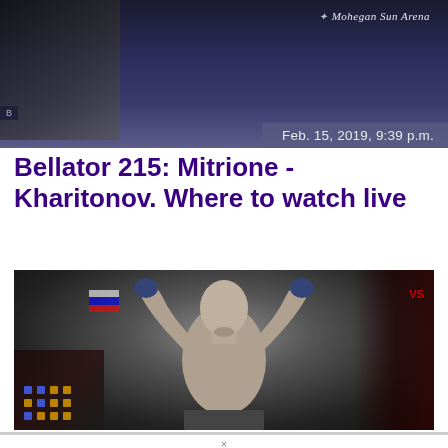[Figure (photo): Top banner image showing a dark MMA arena scene with Mohegan Sun Arena logo watermark in the upper right, and a date/time stamp overlay reading 'Feb. 15, 2019, 9:39 p.m.']
Bellator 215: Mitrione - Kharitonov. Where to watch live
[Figure (photo): MMA fighter (Sergei Kharitonov) shirtless with arms raised in victory pose inside a dark arena with crowd in background]